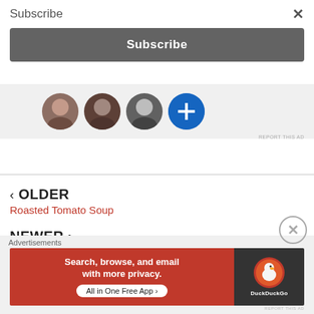Subscribe
×
Subscribe
[Figure (illustration): Row of four overlapping profile photo circles: woman, man, another man, and a blue circle with plus icon, on a light grey background]
REPORT THIS AD
‹ OLDER
Roasted Tomato Soup
NEWER ›
Advertisements
[Figure (screenshot): DuckDuckGo advertisement banner: orange-red left panel reading 'Search, browse, and email with more privacy. All in One Free App' with white pill button, and dark right panel with DuckDuckGo duck logo and brand name]